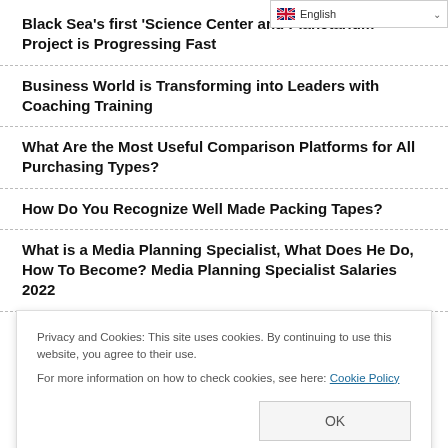[Figure (screenshot): Language selector dropdown showing English with flag icon and chevron]
Black Sea's first 'Science Center and Planetarium' Project is Progressing Fast
Business World is Transforming into Leaders with Coaching Training
What Are the Most Useful Comparison Platforms for All Purchasing Types?
How Do You Recognize Well Made Packing Tapes?
What is a Media Planning Specialist, What Does He Do, How To Become? Media Planning Specialist Salaries 2022
Antalya Metropolitan Scouts Watched the City from Tünektepe
Privacy and Cookies: This site uses cookies. By continuing to use this website, you agree to their use.
For more information on how to check cookies, see here: Cookie Policy
What is Tomato Flu, What Are its Symptoms, How is it